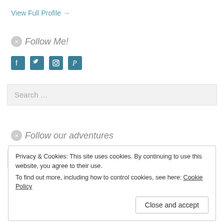View Full Profile →
Follow Me!
[Figure (illustration): Social media icons: Facebook, Twitter, Instagram, Pinterest in teal/dark blue square icons]
[Figure (screenshot): Search input box with placeholder text 'Search ...']
Follow our adventures
[Figure (screenshot): Email Address input box partially visible]
Privacy & Cookies: This site uses cookies. By continuing to use this website, you agree to their use.
To find out more, including how to control cookies, see here: Cookie Policy
Close and accept